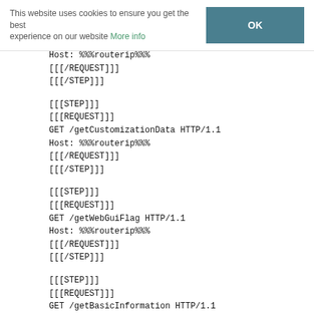This website uses cookies to ensure you get the best experience on our website More info  OK
Host: %%%routerip%%%
[[[ /REQUEST]]]
[[[ /STEP]]]
[[[STEP]]]
[[[REQUEST]]]
GET /getCustomizationData HTTP/1.1
Host: %%%routerip%%%
[[[/REQUEST]]]
[[[/STEP]]]
[[[STEP]]]
[[[REQUEST]]]
GET /getWebGuiFlag HTTP/1.1
Host: %%%routerip%%%
[[[/REQUEST]]]
[[[/STEP]]]
[[[STEP]]]
[[[REQUEST]]]
GET /getBasicInformation HTTP/1.1
Host: %%%routerip%%%
[[[/REQUEST]]]
[[[/STEP]]]
[[[STEP]]]